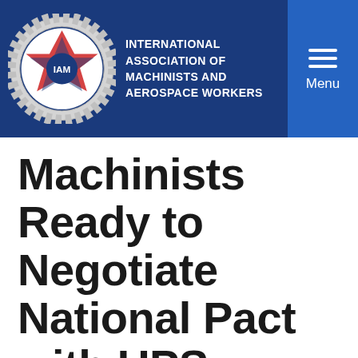INTERNATIONAL ASSOCIATION OF MACHINISTS AND AEROSPACE WORKERS
Machinists Ready to Negotiate National Pact with UPS
IMAIL
May 15, 2014
IAM negotiators are finalizing a package of contract